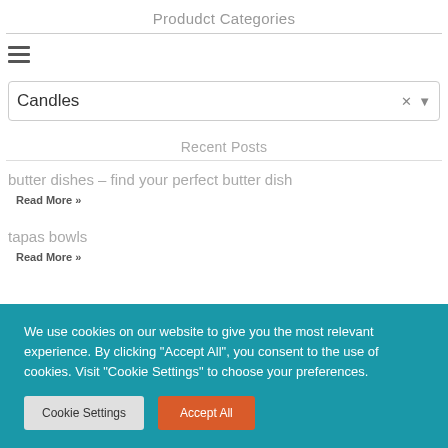Produdct Categories
Candles
Recent Posts
butter dishes – find your perfect butter dish
Read More »
tapas bowls
Read More »
We use cookies on our website to give you the most relevant experience. By clicking "Accept All", you consent to the use of cookies. Visit "Cookie Settings" to choose your preferences.